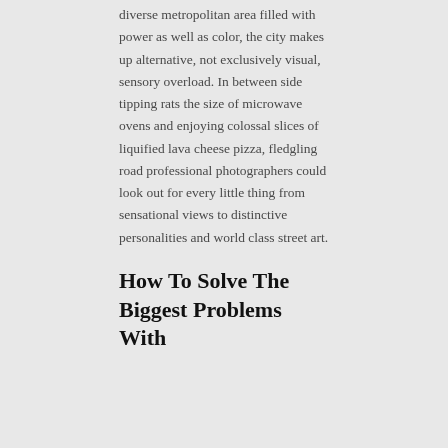diverse metropolitan area filled with power as well as color, the city makes up alternative, not exclusively visual, sensory overload. In between side tipping rats the size of microwave ovens and enjoying colossal slices of liquified lava cheese pizza, fledgling road professional photographers could look out for every little thing from sensational views to distinctive personalities and world class street art.
How To Solve The Biggest Problems With